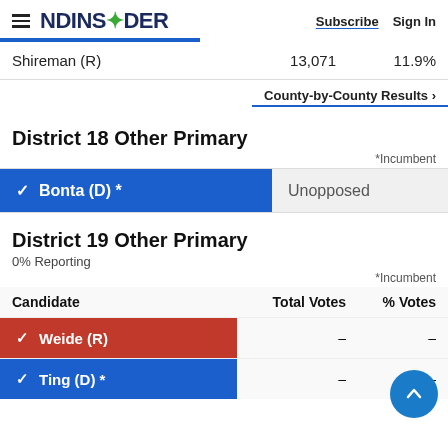NDINSiDER — Subscribe | Sign In
| Candidate | Total Votes | % Votes |
| --- | --- | --- |
| Shireman (R) | 13,071 | 11.9% |
County-by-County Results ›
District 18 Other Primary
*Incumbent
| Candidate |  |
| --- | --- |
| ✔ Bonta (D) * | Unopposed |
District 19 Other Primary
0% Reporting
*Incumbent
| Candidate | Total Votes | % Votes |
| --- | --- | --- |
| ✔ Weide (R) | - | - |
| ✔ Ting (D) * | - | - |